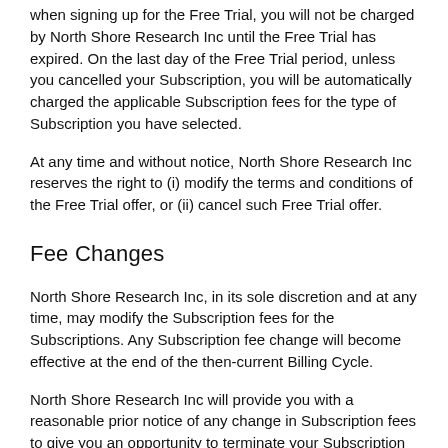when signing up for the Free Trial, you will not be charged by North Shore Research Inc until the Free Trial has expired. On the last day of the Free Trial period, unless you cancelled your Subscription, you will be automatically charged the applicable Subscription fees for the type of Subscription you have selected.
At any time and without notice, North Shore Research Inc reserves the right to (i) modify the terms and conditions of the Free Trial offer, or (ii) cancel such Free Trial offer.
Fee Changes
North Shore Research Inc, in its sole discretion and at any time, may modify the Subscription fees for the Subscriptions. Any Subscription fee change will become effective at the end of the then-current Billing Cycle.
North Shore Research Inc will provide you with a reasonable prior notice of any change in Subscription fees to give you an opportunity to terminate your Subscription before such change becomes effective.